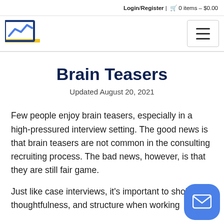Login / Register | 0 items - $0.00
[Figure (logo): Blue line-chart style logo with yellow underline bar]
Brain Teasers
Updated August 20, 2021
Few people enjoy brain teasers, especially in a high-pressured interview setting. The good news is that brain teasers are not common in the consulting recruiting process. The bad news, however, is that they are still fair game.
Just like case interviews, it's important to show logic, thoughtfulness, and structure when working